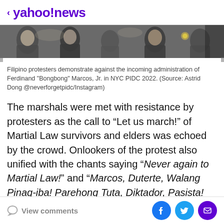< yahoo!news
[Figure (photo): Filipino protesters demonstrating, multiple people visible in a crowded outdoor setting, cropped photo strip]
Filipino protesters demonstrate against the incoming administration of Ferdinand "Bongbong" Marcos, Jr. in NYC PIDC 2022. (Source: Astrid Dong @neverforgetpidc/Instagram)
The marshals were met with resistance by protesters as the call to “Let us march!” of Martial Law survivors and elders was echoed by the crowd. Onlookers of the protest also unified with the chants saying “Never again to Martial Law!” and “Marcos, Duterte, Walang Pinag-iba! Parehong Tuta, Diktador, Pasista! (There is no difference between Marcos and Duterte! Both are lap dogs, dictators, and fascists!)”
View comments